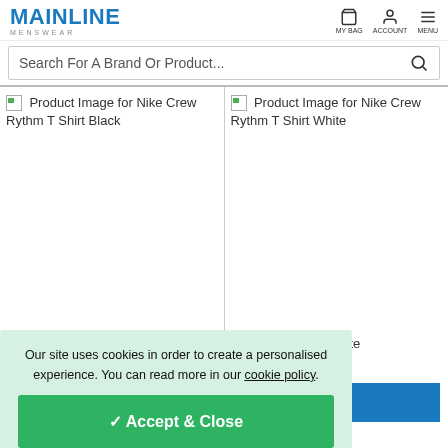MAINLINE MENSWEAR
Search For A Brand Or Product...
[Figure (screenshot): Product image placeholder for Nike Crew Rythm T Shirt Black]
[Figure (screenshot): Product image placeholder for Nike Crew Rythm T Shirt White]
Our site uses cookies in order to create a personalised experience. You can read more in our cookie policy .
✓ Accept & Close
rthm T Shirt White
28.00
d to Bag
mage for Nike